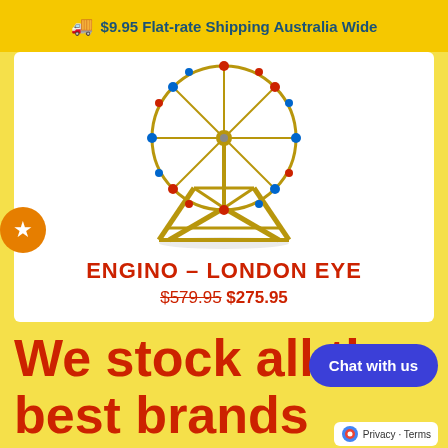🚚 $9.95 Flat-rate Shipping Australia Wide
[Figure (photo): Engino London Eye ferris wheel toy model, colorful construction set with red, blue and gold pieces forming a large ferris wheel structure with support frame]
ENGINO – LONDON EYE
$579.95 $275.95
We stock all the best brands